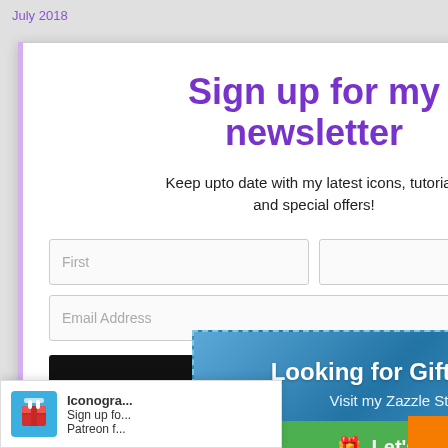July 2018
Sign up for my newsletter
Keep upto date with my latest icons, tutorials and special offers!
4.5k SHARES
First
Email Address
[Figure (infographic): Gift ideas popup with blue gradient background, dashed border, title 'Looking for Gift Ideas?', subtitle 'Visit my Zazzle Store!', green button 'Let's Do It', and 'Powered by zotabox' footer]
Iconogra... Sign up fo... Patreon f...